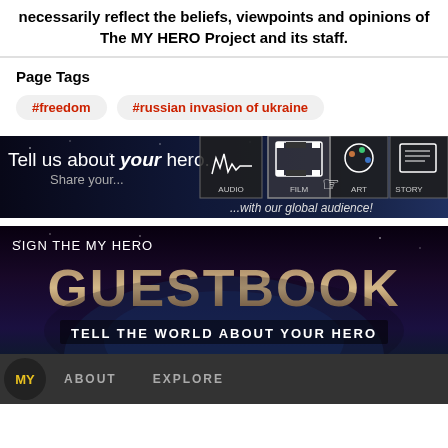necessarily reflect the beliefs, viewpoints and opinions of The MY HERO Project and its staff.
Page Tags
#freedom
#russian invasion of ukraine
[Figure (infographic): Banner reading 'Tell us about your hero. Share your...' with icons for STORY, ART, FILM, AUDIO and text '...with our global audience!' on a dark space-themed background.]
[Figure (infographic): Banner reading 'SIGN THE MY HERO GUESTBOOK' and 'TELL THE WORLD ABOUT YOUR HERO' on a dark space/earth background with mosaic letter fills.]
MY   ABOUT   EXPLORE